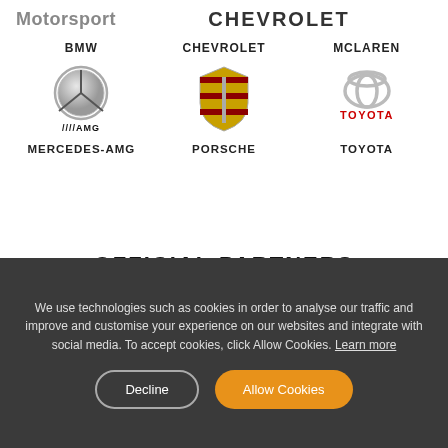Motorsport   CHEVROLET
BMW   CHEVROLET   MCLAREN
[Figure (logo): Mercedes-AMG, Porsche, and Toyota brand logos displayed in a row]
MERCEDES-AMG   PORSCHE   TOYOTA
OFFICIAL PARTNERS
We use technologies such as cookies in order to analyse our traffic and improve and customise your experience on our websites and integrate with social media. To accept cookies, click Allow Cookies. Learn more
Decline   Allow Cookies